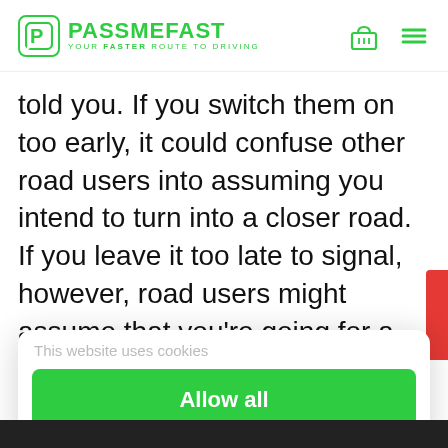[Figure (logo): PassMeFast logo with green P icon in rounded square box, green text PASSMEF AST, tagline YOUR FASTER ROUTE TO DRIVING]
told you. If you switch them on too early, it could confuse other road users into assuming you intend to turn into a closer road. If you leave it too late to signal, however, road users might assume that you're going for a later turning, which creates
This website uses cookies
Allow all
Deny
Powered by Cookiebot by Usercentrics